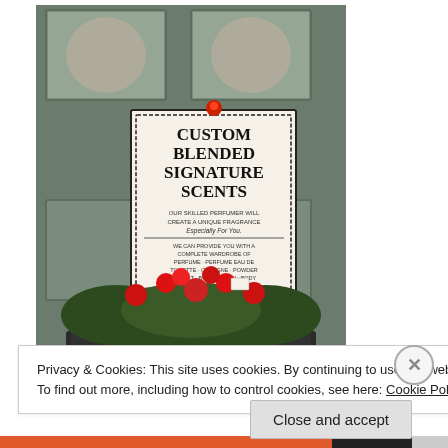[Figure (photo): A photograph showing a green painted door with decorative glass panels at top. In front of the door is a sign reading 'CUSTOM BLENDED SIGNATURE SCENTS' with smaller text describing custom perfumer services. Below the sign is a pot of red cyclamen flowers in a black tray.]
Privacy & Cookies: This site uses cookies. By continuing to use this website, you agree to their use.
To find out more, including how to control cookies, see here: Cookie Policy
Close and accept